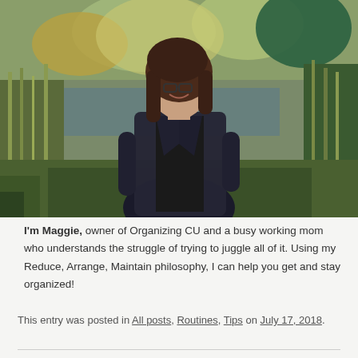[Figure (photo): Portrait photo of Maggie, a woman with long dark hair and glasses wearing a dark jacket, standing outdoors near tall grasses and trees by a body of water, smiling at the camera.]
I'm Maggie, owner of Organizing CU and a busy working mom who understands the struggle of trying to juggle all of it. Using my Reduce, Arrange, Maintain philosophy, I can help you get and stay organized!
This entry was posted in All posts, Routines, Tips on July 17, 2018.